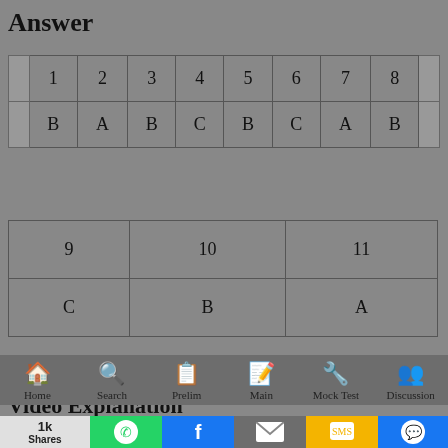Answer
|  | 1 | 2 | 3 | 4 | 5 | 6 | 7 | 8 |  |
| --- | --- | --- | --- | --- | --- | --- | --- | --- | --- |
|  | B | A | B | C | B | C | A | B |  |
| 9 | 10 | 11 |
| --- | --- | --- |
| C | B | A |
Video Explanation